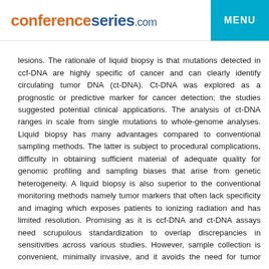conferenceseries.com MENU
lesions. The rationale of liquid biopsy is that mutations detected in ccf-DNA are highly specific of cancer and can clearly identify circulating tumor DNA (ct-DNA). Ct-DNA was explored as a prognostic or predictive marker for cancer detection; the studies suggested potential clinical applications. The analysis of ct-DNA ranges in scale from single mutations to whole-genome analyses. Liquid biopsy has many advantages compared to conventional sampling methods. The latter is subject to procedural complications, difficulty in obtaining sufficient material of adequate quality for genomic profiling and sampling biases that arise from genetic heterogeneity. A liquid biopsy is also superior to the conventional monitoring methods namely tumor markers that often lack specificity and imaging which exposes patients to ionizing radiation and has limited resolution. Promising as it is ccf-DNA and ct-DNA assays need scrupulous standardization to overlap discrepancies in sensitivities across various studies. However, sample collection is convenient, minimally invasive, and it avoids the need for tumor tissue biopsies.